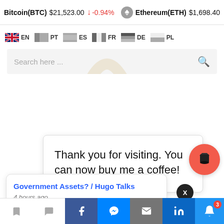Bitcoin(BTC) $21,523.00 ↓ -0.94%   Ethereum(ETH) $1,698.40
[Figure (screenshot): Language selector bar with flags: EN (UK), PT (Portugal), ES (Spain), FR (France), DE (Germany), PL (Poland)]
[Figure (screenshot): Search bar with placeholder text 'Search here ...' and search icon, with faint croissant logo watermark]
Thank you for visiting. You can now buy me a coffee!
Government Assets? / Hugo Talks
4 hours ago